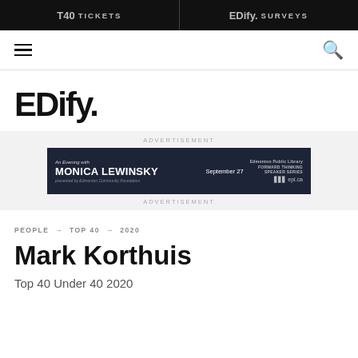T40 TICKETS | EDify. SURVEYS
[Figure (logo): EDify. magazine logo in large bold black text]
[Figure (infographic): Advertisement banner: An Evening with MONICA LEWINSKY presented by Edmonton Community Foundation — September 27 — Edmonton Public Library Forward Thinking Speaker Series — epl.ca]
PEOPLE → TOP 40 → 2020
Mark Korthuis
Top 40 Under 40 2020